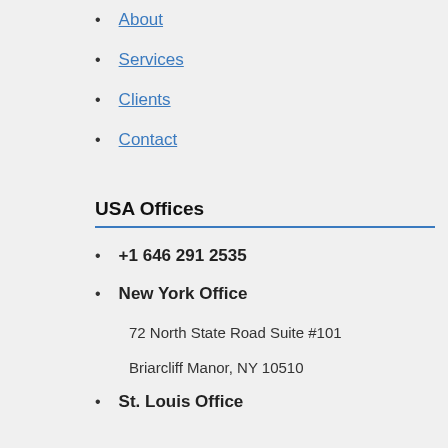About
Services
Clients
Contact
USA Offices
+1 646 291 2535
New York Office
72 North State Road Suite #101
Briarcliff Manor, NY 10510
St. Louis Office